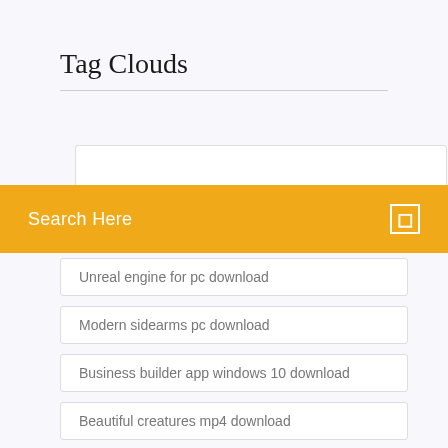Tag Clouds
Search Here
Unreal engine for pc download
Modern sidearms pc download
Business builder app windows 10 download
Beautiful creatures mp4 download
How to download playstation 3 emulator for pc